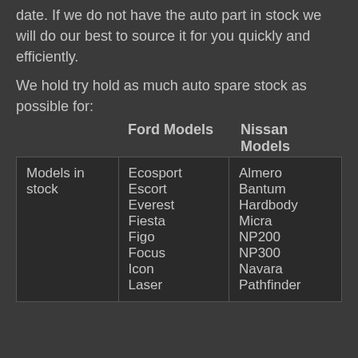date. If we do not have the auto part in stock we will do our best to source it for you quickly and efficiently.
We hold try hold as much auto spare stock as possible for:
|  | Ford Models | Nissan Models |
| --- | --- | --- |
| Models in stock | Ecosport
Escort
Everest
Fiesta
Figo
Focus
Icon
Laser | Almero
Bantum
Hardbody
Micra
NP200
NP300
Navara
Pathfinder |